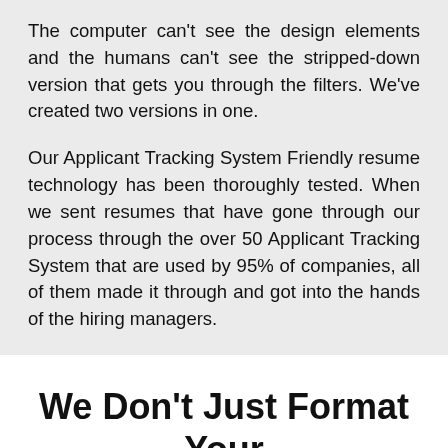The computer can't see the design elements and the humans can't see the stripped-down version that gets you through the filters. We've created two versions in one.
Our Applicant Tracking System Friendly resume technology has been thoroughly tested. When we sent resumes that have gone through our process through the over 50 Applicant Tracking System that are used by 95% of companies, all of them made it through and got into the hands of the hiring managers.
We Don't Just Format Your Resume